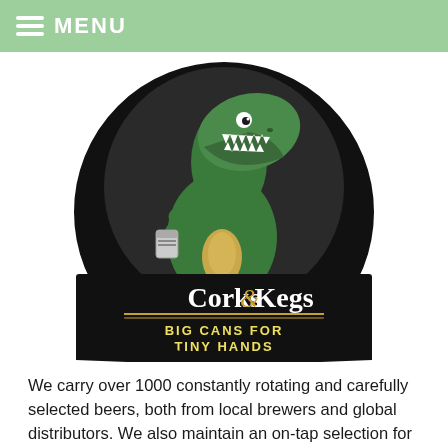MENU
[Figure (logo): Circular logo with a T-Rex dinosaur holding a beer can. Text reads 'Corks & Kegs' with tagline 'BIG CANS FOR TINY HANDS' on a black circular background.]
We carry over 1000 constantly rotating and carefully selected beers, both from local brewers and global distributors. We also maintain an on-tap selection for